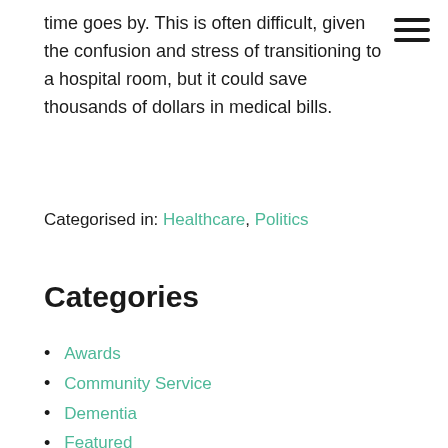time goes by. This is often difficult, given the confusion and stress of transitioning to a hospital room, but it could save thousands of dollars in medical bills.
Categorised in: Healthcare, Politics
Categories
Awards
Community Service
Dementia
Featured
Healthcare
Healthy Elders
In-home care